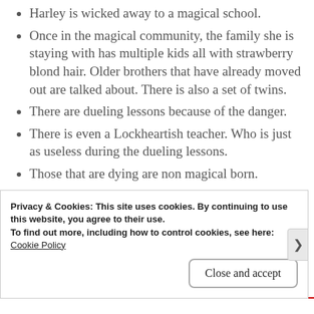Harley is wicked away to a magical school.
Once in the magical community, the family she is staying with has multiple kids all with strawberry blond hair. Older brothers that have already moved out are talked about. There is also a set of twins.
There are dueling lessons because of the danger.
There is even a Lockheartish teacher. Who is just as useless during the dueling lessons.
Those that are dying are non magical born.
Privacy & Cookies: This site uses cookies. By continuing to use this website, you agree to their use.
To find out more, including how to control cookies, see here:
Cookie Policy
Close and accept